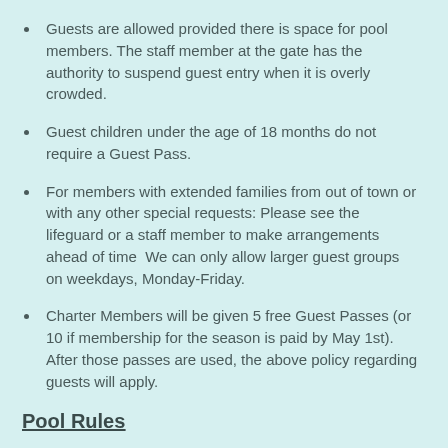Guests are allowed provided there is space for pool members. The staff member at the gate has the authority to suspend guest entry when it is overly crowded.
Guest children under the age of 18 months do not require a Guest Pass.
For members with extended families from out of town or with any other special requests: Please see the lifeguard or a staff member to make arrangements ahead of time  We can only allow larger guest groups on weekdays, Monday-Friday.
Charter Members will be given 5 free Guest Passes (or 10 if membership for the season is paid by May 1st). After those passes are used, the above policy regarding guests will apply.
Pool Rules
Children under the age of 12 must be accompanied and supervised by a person at least 15 years of age